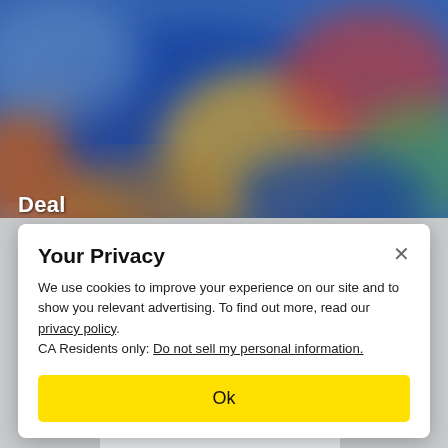[Figure (photo): Blurred colorful background photo, possibly of toys or products on store shelves with blue, yellow, orange, and red colors. A hand is partially visible at the bottom left corner.]
Deal
Your Privacy
We use cookies to improve your experience on our site and to show you relevant advertising. To find out more, read our privacy policy.
CA Residents only: Do not sell my personal information.
Ok
KALAMAZOO